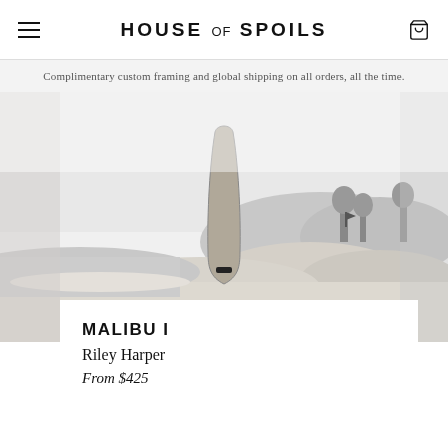HOUSE of SPOILS
Complimentary custom framing and global shipping on all orders, all the time.
[Figure (photo): Black and white photograph of a surfboard standing upright in sand on a beach, with ocean waves, sandy dunes, and trees in the misty background.]
MALIBU I
Riley Harper
From $425